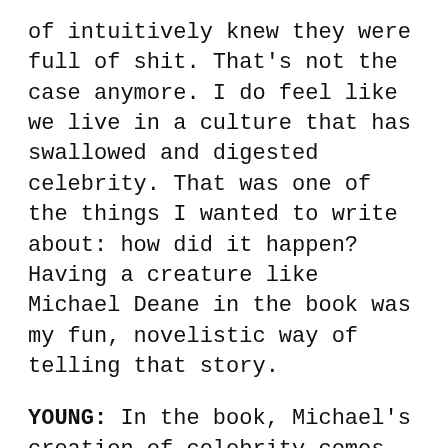of intuitively knew they were full of shit. That's not the case anymore. I do feel like we live in a culture that has swallowed and digested celebrity. That was one of the things I wanted to write about: how did it happen? Having a creature like Michael Deane in the book was my fun, novelistic way of telling that story.
YOUNG: In the book, Michael's creation of celebrity comes from a pretty morally bankrupt place. It's more than self-promotion; it becomes about disguise and how much that can wound people.